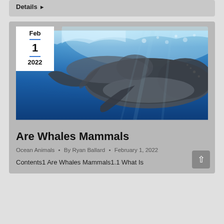Details ▶
[Figure (photo): Underwater photo of humpback whales swimming in deep blue ocean water, with light rays visible from the surface above. A date badge overlay shows Feb 1 2022.]
Are Whales Mammals
Ocean Animals • By Ryan Ballard • February 1, 2022
Contents1 Are Whales Mammals1.1 What Is